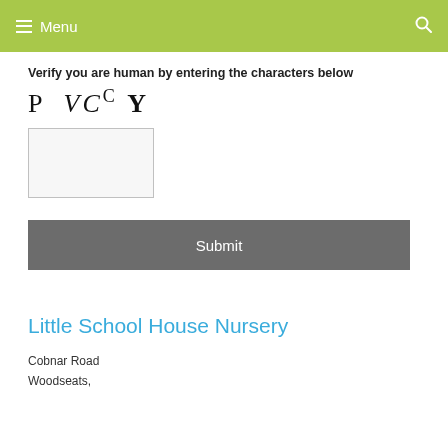Menu
Verify you are human by entering the characters below
[Figure (other): CAPTCHA image showing distorted characters: P VcC Y]
Submit
Little School House Nursery
Cobnar Road
Woodseats,